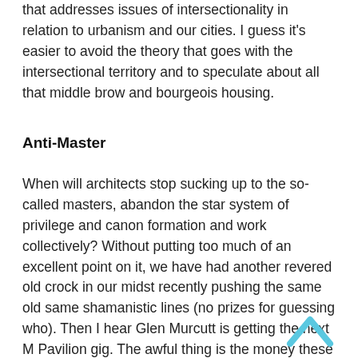that addresses issues of intersectionality in relation to urbanism and our cities. I guess it's easier to avoid the theory that goes with the intersectional territory and to speculate about all that middle brow and bourgeois housing.
Anti-Master
When will architects stop sucking up to the so-called masters, abandon the star system of privilege and canon formation and work collectively? Without putting too much of an excellent point on it, we have had another revered old crock in our midst recently pushing the same old same shamanistic lines (no prizes for guessing who). Then I hear Glen Murcutt is getting the next M Pavilion gig. The awful thing is the money these stars get is money that could be better spent going towards younger practitioners or funding people to curate great